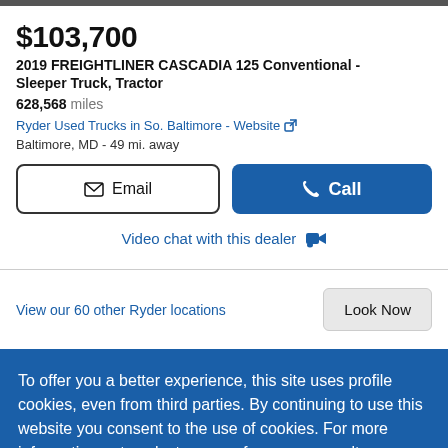$103,700
2019 FREIGHTLINER CASCADIA 125 Conventional - Sleeper Truck, Tractor
628,568 miles
Ryder Used Trucks in So. Baltimore - Website
Baltimore, MD - 49 mi. away
Email
Call
Video chat with this dealer
View our 60 other Ryder locations
Look Now
To offer you a better experience, this site uses profile cookies, even from third parties. By continuing to use this website you consent to the use of cookies. For more information or to select your preferences consult our Privacy Policy
Cookie Settings
OK